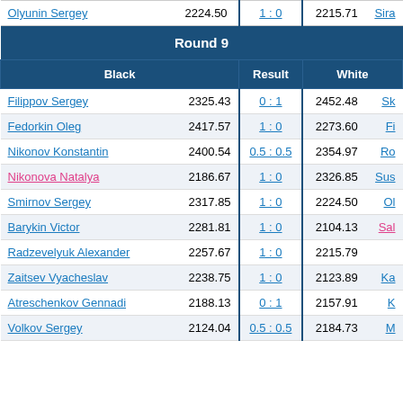| Black |  | Result |  | White |
| --- | --- | --- | --- | --- |
| Olyunin Sergey | 2224.50 | 1 : 0 | 2215.71 | Sira... |
| Round 9 |  |  |  |  |
| Black |  | Result |  | White |
| Filippov Sergey | 2325.43 | 0 : 1 | 2452.48 | Sk... |
| Fedorkin Oleg | 2417.57 | 1 : 0 | 2273.60 | Fi... |
| Nikonov Konstantin | 2400.54 | 0.5 : 0.5 | 2354.97 | Ro... |
| Nikonova Natalya | 2186.67 | 1 : 0 | 2326.85 | Sus... |
| Smirnov Sergey | 2317.85 | 1 : 0 | 2224.50 | Ol... |
| Barykin Victor | 2281.81 | 1 : 0 | 2104.13 | Sal... |
| Radzevelyuk Alexander | 2257.67 | 1 : 0 | 2215.79 |  |
| Zaitsev Vyacheslav | 2238.75 | 1 : 0 | 2123.89 | Ka... |
| Atreschenkov Gennadi | 2188.13 | 0 : 1 | 2157.91 | K... |
| Volkov Sergey | 2124.04 | 0.5 : 0.5 | 2184.73 | M... |